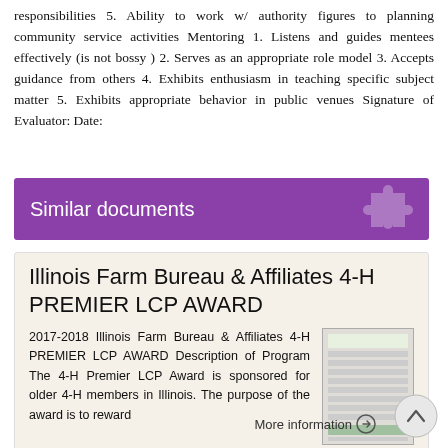responsibilities 5. Ability to work w/ authority figures to planning community service activities Mentoring 1. Listens and guides mentees effectively (is not bossy ) 2. Serves as an appropriate role model 3. Accepts guidance from others 4. Exhibits enthusiasm in teaching specific subject matter 5. Exhibits appropriate behavior in public venues Signature of Evaluator: Date:
Similar documents
Illinois Farm Bureau & Affiliates 4-H PREMIER LCP AWARD
2017-2018 Illinois Farm Bureau & Affiliates 4-H PREMIER LCP AWARD Description of Program The 4-H Premier LCP Award is sponsored for older 4-H members in Illinois. The purpose of the award is to reward
More information